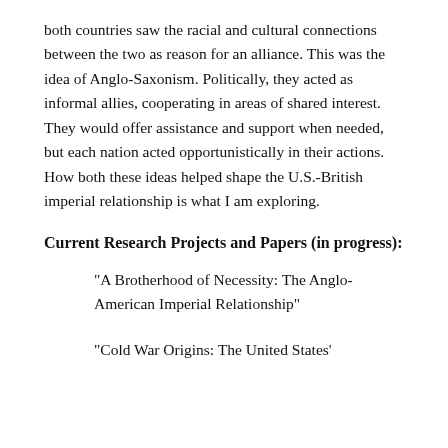both countries saw the racial and cultural connections between the two as reason for an alliance. This was the idea of Anglo-Saxonism. Politically, they acted as informal allies, cooperating in areas of shared interest. They would offer assistance and support when needed, but each nation acted opportunistically in their actions. How both these ideas helped shape the U.S.-British imperial relationship is what I am exploring.
Current Research Projects and Papers (in progress):
“A Brotherhood of Necessity: The Anglo-American Imperial Relationship”
“Cold War Origins: The United States’